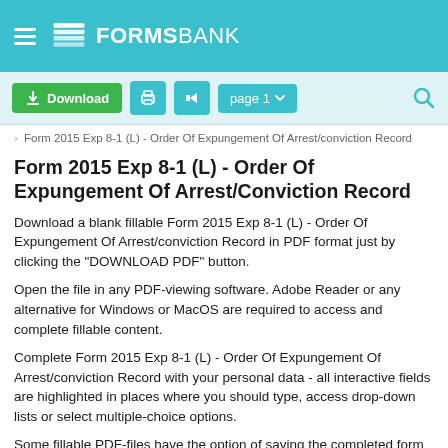FORMSBANK
Download | Print | Share | page 1
> Form 2015 Exp 8-1 (L) - Order Of Expungement Of Arrest/conviction Record
Form 2015 Exp 8-1 (L) - Order Of Expungement Of Arrest/Conviction Record
Download a blank fillable Form 2015 Exp 8-1 (L) - Order Of Expungement Of Arrest/conviction Record in PDF format just by clicking the "DOWNLOAD PDF" button.
Open the file in any PDF-viewing software. Adobe Reader or any alternative for Windows or MacOS are required to access and complete fillable content.
Complete Form 2015 Exp 8-1 (L) - Order Of Expungement Of Arrest/conviction Record with your personal data - all interactive fields are highlighted in places where you should type, access drop-down lists or select multiple-choice options.
Some fillable PDF-files have the option of saving the completed form that contains your own data for later use or sending it out straight